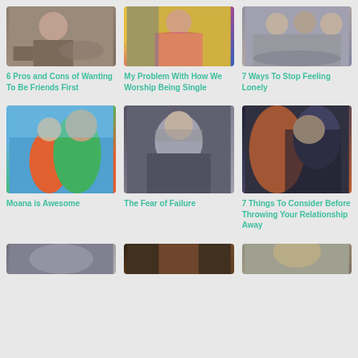[Figure (photo): Person at a table with food]
[Figure (photo): Person in floral and yellow outfit]
[Figure (photo): Group of people at a table with food]
6 Pros and Cons of Wanting To Be Friends First
My Problem With How We Worship Being Single
7 Ways To Stop Feeling Lonely
[Figure (photo): Moana animated movie characters]
[Figure (photo): Older man with serious expression]
[Figure (photo): Person with camera close-up]
Moana is Awesome
The Fear of Failure
7 Things To Consider Before Throwing Your Relationship Away
[Figure (photo): Partial image row 3 left]
[Figure (photo): Partial image row 3 center]
[Figure (photo): Partial image row 3 right]